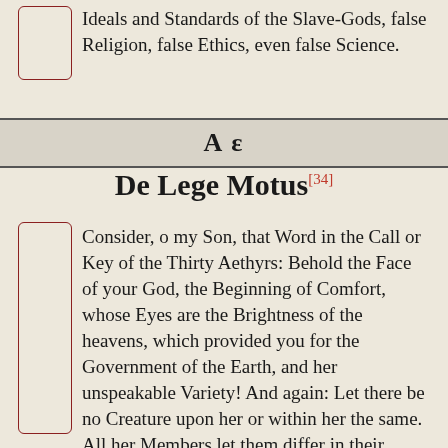Ideals and Standards of the Slave-Gods, false Religion, false Ethics, even false Science.
A ε
De Lege Motus[34]
Consider, o my Son, that Word in the Call or Key of the Thirty Aethyrs: Behold the Face of your God, the Beginning of Comfort, whose Eyes are the Brightness of the heavens, which provided you for the Government of the Earth, and her unspeakable Variety! And again: Let there be no Creature upon her or within her the same. All her Members let them differ in their Qualities, and let there be no Creature equal with another. Here also is the Voice of true Science, crying aloud: Variation is the Key of